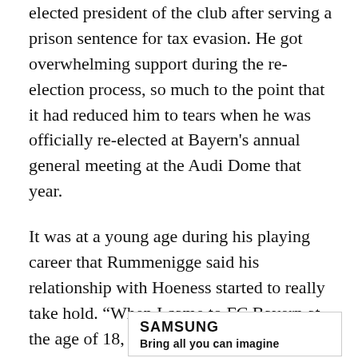elected president of the club after serving a prison sentence for tax evasion. He got overwhelming support during the re-election process, so much to the point that it had reduced him to tears when he was officially re-elected at Bayern's annual general meeting at the Audi Dome that year.
It was at a young age during his playing career that Rummenigge said his relationship with Hoeness started to really take hold. “When I came to FC Bayern at the age of 18, in awe of the big names, he quickly became my roommate,” Rummenigge recalled. They played together at Bayern for roughly five years before Hoeness hung up his boots for good.
[Figure (other): Samsung advertisement box with Samsung logo and partial subtext below]